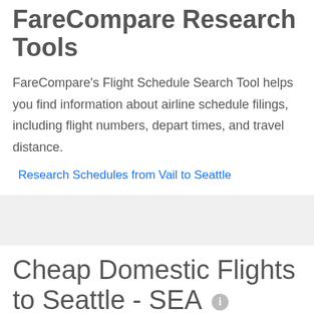FareCompare Research Tools
FareCompare's Flight Schedule Search Tool helps you find information about airline schedule filings, including flight numbers, depart times, and travel distance.
Research Schedules from Vail to Seattle
Cheap Domestic Flights to Seattle - SEA
| Flights | Lowest Price |
| --- | --- |